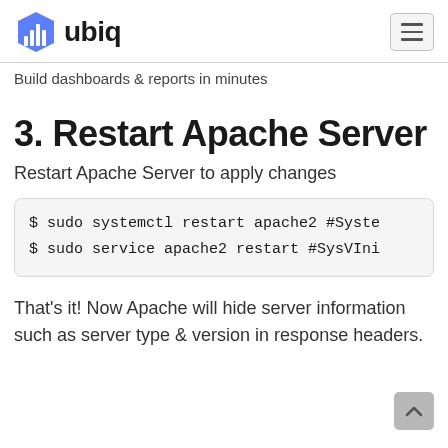ubiq — Build dashboards & reports in minutes
3. Restart Apache Server
Restart Apache Server to apply changes
$ sudo systemctl restart apache2 #Syste
$ sudo service apache2 restart #SysVIni
That's it! Now Apache will hide server information such as server type & version in response headers.